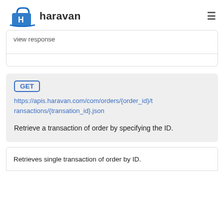haravan
view response
GET https://apis.haravan.com/com/orders/{order_id}/transactions/{transation_id}.json

Retrieve a transaction of order by specifying the ID.
Retrieves single transaction of order by ID.